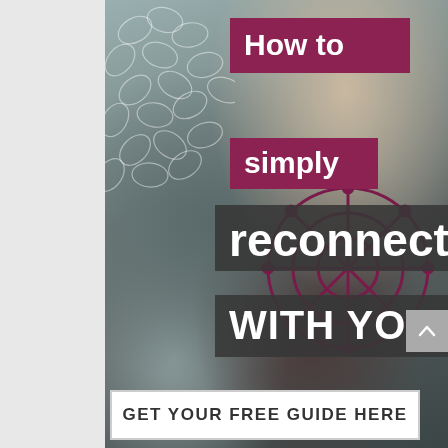[Figure (photo): A woman holding a phone and crafting materials, photographed from above, with decorative leaf patterns on the left and a purple/maroon floral network pattern at bottom right.]
How to simply reconnect WITH YOU
GET YOUR FREE GUIDE HERE